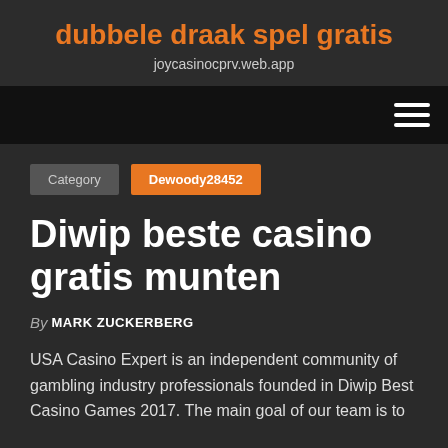dubbele draak spel gratis
joycasinocprv.web.app
Category  Dewoody28452
Diwip beste casino gratis munten
By MARK ZUCKERBERG
USA Casino Expert is an independent community of gambling industry professionals founded in Diwip Best Casino Games 2017. The main goal of our team is to